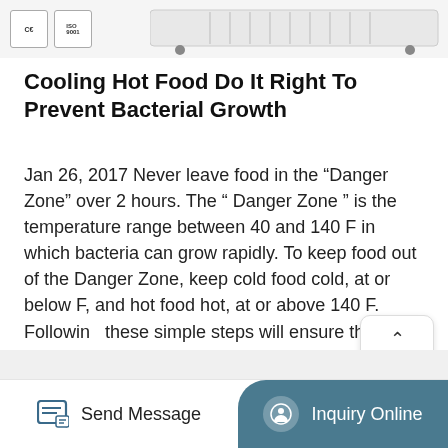[Figure (photo): Cropped top of page showing CE and ISO certification badges and a wheeled commercial cooling/refrigeration appliance]
Cooling Hot Food Do It Right To Prevent Bacterial Growth
Jan 26, 2017 Never leave food in the “Danger Zone” over 2 hours. The “ Danger Zone ” is the temperature range between 40 and 140 F in which bacteria can grow rapidly. To keep food out of the Danger Zone, keep cold food cold, at or below F, and hot food hot, at or above 140 F. Following these simple steps will ensure that your food remains safe to ...
[Figure (other): TOP scroll-to-top button with an upward caret arrow]
More Details
Send Message  Inquiry Online